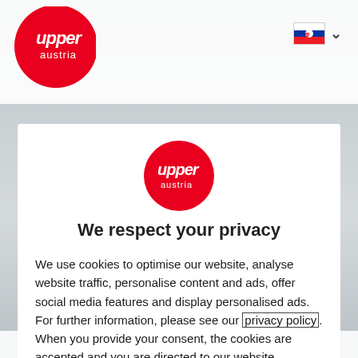[Figure (logo): Upper Austria red circle logo in top-left navigation bar]
[Figure (logo): Slovakia flag icon with dropdown chevron in top-right]
[Figure (logo): Upper Austria red circle logo centered in modal]
We respect your privacy
We use cookies to optimise our website, analyse website traffic, personalise content and ads, offer social media features and display personalised ads. For further information, please see our privacy policy. When you provide your consent, the cookies are accepted and you are directed to our website.